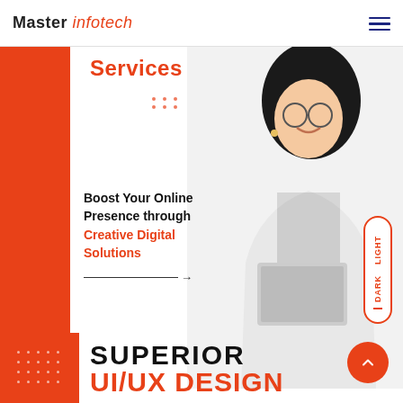Master infotech
Services
Boost Your Online Presence through Creative Digital Solutions
[Figure (photo): Woman in business attire holding a laptop, smiling, wearing glasses]
SUPERIOR UI/UX DESIGN